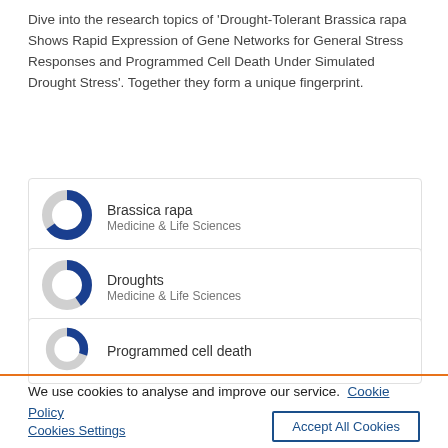Dive into the research topics of 'Drought-Tolerant Brassica rapa Shows Rapid Expression of Gene Networks for General Stress Responses and Programmed Cell Death Under Simulated Drought Stress'. Together they form a unique fingerprint.
[Figure (donut-chart): Donut chart ~90% filled in blue for Brassica rapa, Medicine & Life Sciences]
[Figure (donut-chart): Donut chart ~65% filled in blue for Droughts, Medicine & Life Sciences]
[Figure (donut-chart): Donut chart ~55% filled in blue for Programmed cell death]
We use cookies to analyse and improve our service. Cookie Policy